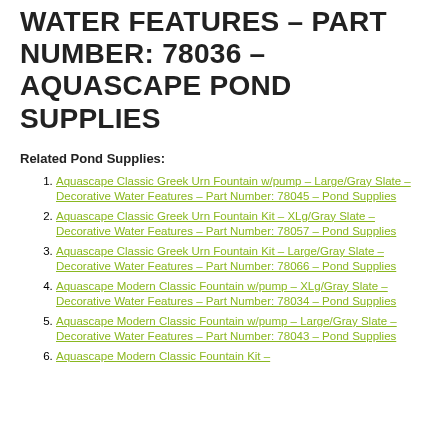WATER FEATURES – PART NUMBER: 78036 – AQUASCAPE POND SUPPLIES
Related Pond Supplies:
Aquascape Classic Greek Urn Fountain w/pump – Large/Gray Slate – Decorative Water Features – Part Number: 78045 – Pond Supplies
Aquascape Classic Greek Urn Fountain Kit – XLg/Gray Slate – Decorative Water Features – Part Number: 78057 – Pond Supplies
Aquascape Classic Greek Urn Fountain Kit – Large/Gray Slate – Decorative Water Features – Part Number: 78066 – Pond Supplies
Aquascape Modern Classic Fountain w/pump – XLg/Gray Slate – Decorative Water Features – Part Number: 78034 – Pond Supplies
Aquascape Modern Classic Fountain w/pump – Large/Gray Slate – Decorative Water Features – Part Number: 78043 – Pond Supplies
Aquascape Modern Classic Fountain Kit –